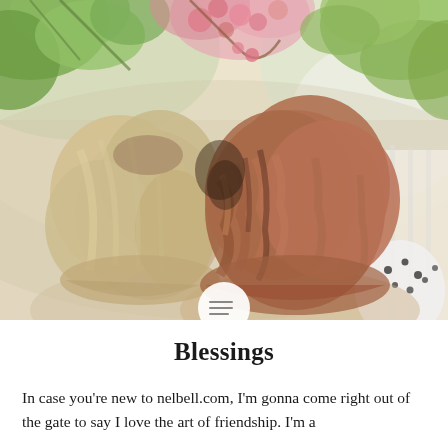[Figure (photo): Two women seen from behind with their heads together, one with blonde/light brown hair on the left and one with auburn/reddish-brown hair on the right, surrounded by green foliage and pink flowering trees in a bright outdoor setting. A small circular hamburger menu icon overlays the bottom center of the image.]
Blessings
In case you're new to nelbell.com, I'm gonna come right out of the gate to say I love the art of friendship. I'm a